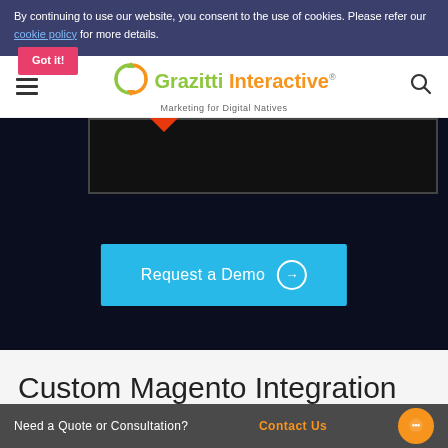By continuing to use our website, you consent to the use of cookies. Please refer our cookie policy for more details. Got it!
[Figure (logo): Grazitti Interactive logo with circular arrow graphic and tagline 'Marketing for Digital Natives']
[Figure (screenshot): Dark hero area with a bordered content box and orange chevron pointing down]
Request a Demo →
Custom Magento Integration
Need a Quote or Consultation? Contact Us